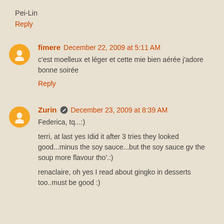Pei-Lin
Reply
fimere  December 22, 2009 at 5:11 AM
c'est moelleux et léger et cette mie bien aérée j'adore bonne soirée
Reply
Zurin  December 23, 2009 at 8:39 AM
Federica, tq...:)
terri, at last yes Idid it after 3 tries they looked good...minus the soy sauce...but the soy sauce gv the soup more flavour tho'.:)
renaclaire, oh yes I read about gingko in desserts too..must be good :)